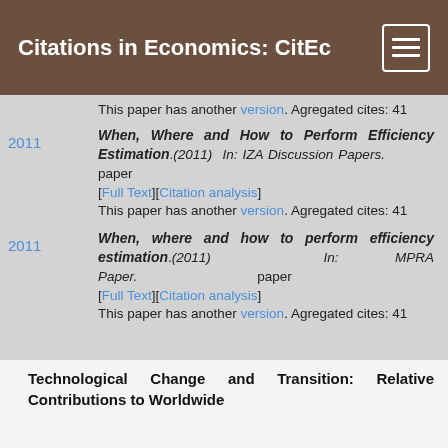Citations in Economics: CitEc
This paper has another version. Agregated cites: 41
When, Where and How to Perform Efficiency Estimation.(2011) In: IZA Discussion Papers. paper [Full Text][Citation analysis] This paper has another version. Agregated cites: 41
When, where and how to perform efficiency estimation.(2011) In: MPRA Paper. paper [Full Text][Citation analysis] This paper has another version. Agregated cites: 41
Technological Change and Transition: Relative Contributions to Worldwide